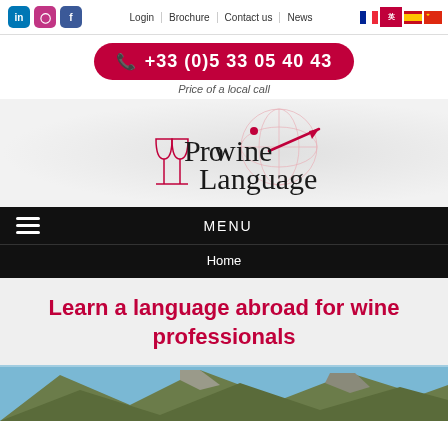LinkedIn | Instagram | Facebook | Login | Brochure | Contact us | News
+33 (0)5 33 05 40 43
Price of a local call
[Figure (logo): Prowine Language logo with wine glasses and globe/arrow graphic]
MENU
Home
Learn a language abroad for wine professionals
[Figure (photo): Mountain landscape with rocky peaks and blue sky, vineyard region]